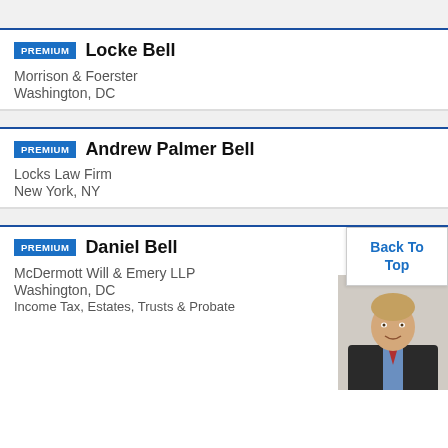PREMIUM  Locke Bell
Morrison & Foerster
Washington, DC
PREMIUM  Andrew Palmer Bell
Locks Law Firm
New York, NY
PREMIUM  Daniel Bell
McDermott Will & Emery LLP
Washington, DC
Income Tax, Estates, Trusts & Probate
Back To Top